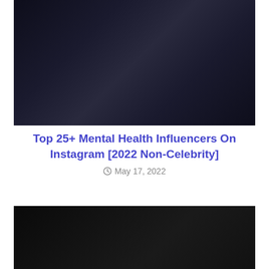[Figure (photo): Dark background header image for blog post about mental health influencers on Instagram]
Top 25+ Mental Health Influencers On Instagram [2022 Non-Celebrity]
May 17, 2022
[Figure (photo): Dark background image, second article thumbnail]